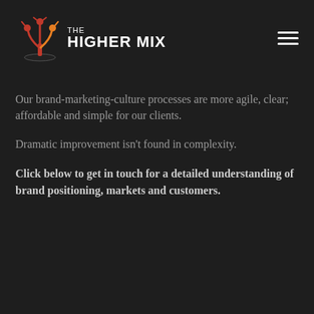[Figure (logo): The Higher Mix logo: a red stylized tree/people figure with orange accents above a black base, next to white text reading 'THE HIGHER MIX']
Our brand-marketing-culture processes are more agile, clear; affordable and simple for our clients.
Dramatic improvement isn't found in complexity.
Click below to get in touch for a detailed understanding of brand positioning, markets and customers.